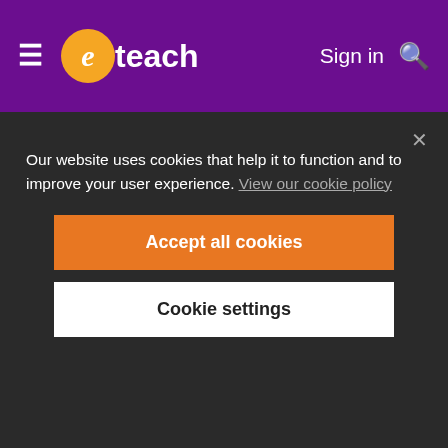eteach — Sign in
IT literate including excel, publisher and word.
Knowledge of Special Educational Needs.
Experience of working with children preferably in an educational setting.
Our website uses cookies that help it to function and to improve your user experience. View our cookie policy
Accept all cookies
Cookie settings